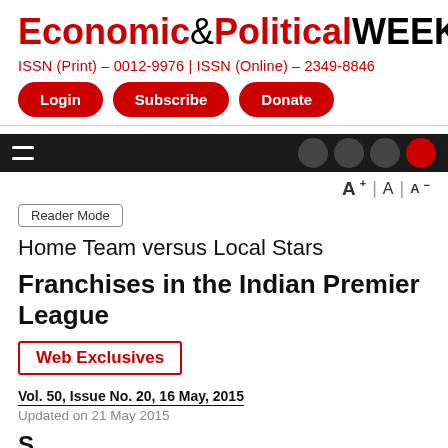Economic&PoliticalWEEKLY
ISSN (Print) – 0012-9976 | ISSN (Online) – 2349-8846
Login  Subscribe  Donate
A+  A  A−
Reader Mode
Home Team versus Local Stars
Franchises in the Indian Premier League
Web Exclusives
Vol. 50, Issue No. 20, 16 May, 2015
Updated on 21 May 2015